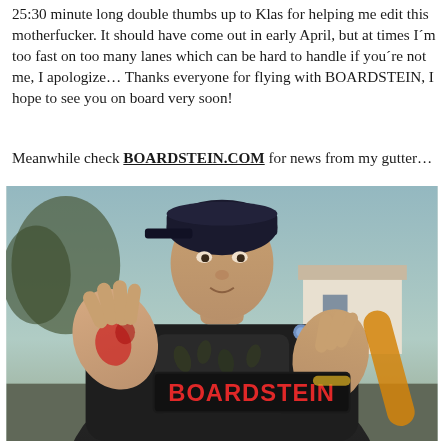25:30 minute long double thumbs up to Klas for helping me edit this motherfucker. It should have come out in early April, but at times I´m too fast on too many lanes which can be hard to handle if you´re not me, I apologize… Thanks everyone for flying with BOARDSTEIN, I hope to see you on board very soon!
Meanwhile check BOARDSTEIN.COM for news from my gutter…
[Figure (photo): A man crouching outdoors holding up a BOARDSTEIN skateboard sticker/logo with both hands. His hands appear to have red marks on them. He is wearing a dark jacket, a dark cap, and has visible tattoos. The background shows trees and a building.]